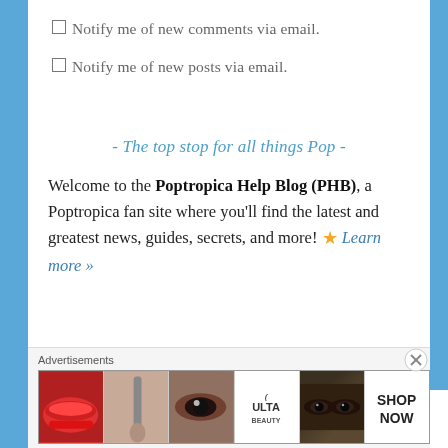Notify me of new comments via email.
Notify me of new posts via email.
- The top stop for all things Pop -
Welcome to the Poptropica Help Blog (PHB), a Poptropica fan site where you'll find the latest and greatest news, guides, secrets, and more! ⭐ Learn more »
Advertisements
[Figure (other): ULTA Beauty advertisement banner with makeup imagery including lips, brush, eye, ULTA logo, eye pair, and SHOP NOW text]